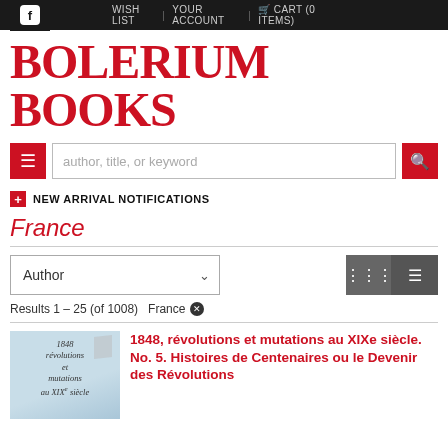WISH LIST | YOUR ACCOUNT | CART (0 ITEMS)
BOLERIUM BOOKS
author, title, or keyword
NEW ARRIVAL NOTIFICATIONS
France
Author
Results 1 - 25 (of 1008)  France
1848, révolutions et mutations au XIXe siècle. No. 5. Histoires de Centenaires ou le Devenir des Révolutions